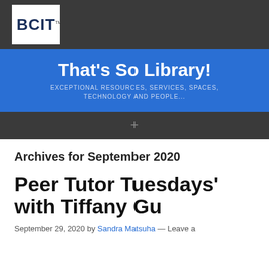[Figure (logo): BCIT logo — white rectangle with bold dark blue BCIT text, TM mark, on dark gray header background]
That's So Library!
EXCEPTIONAL RESOURCES, SERVICES, SPACES, TECHNOLOGY AND PEOPLE...
Archives for September 2020
Peer Tutor Tuesdays' with Tiffany Gu
September 29, 2020 by Sandra Matsuha — Leave a